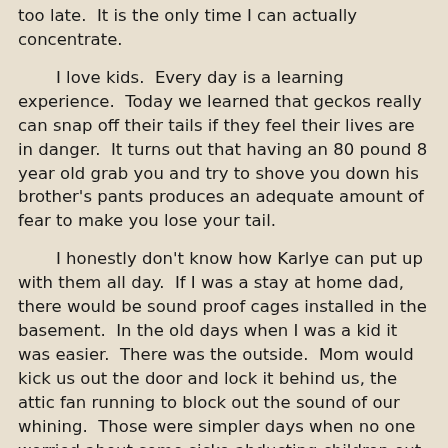too late.  It is the only time I can actually concentrate.
I love kids.  Every day is a learning experience.  Today we learned that geckos really can snap off their tails if they feel their lives are in danger.  It turns out that having an 80 pound 8 year old grab you and try to shove you down his brother's pants produces an adequate amount of fear to make you lose your tail.
I honestly don't know how Karlye can put up with them all day.  If I was a stay at home dad, there would be sound proof cages installed in the basement.  In the old days when I was a kid it was easier.  There was the outside.  Mom would kick us out the door and lock it behind us, the attic fan running to block out the sound of our whining.  Those were simpler days when no one worried about some sicko abducting children out of your yard.I'm sure we were bored out of our minds most of the time, but we always somehow managed to find something to do.  Now the kids have Xbox and Wii, satellite and Netflix, computers and a thousand toys and there is absolutely nothing that they can find to occupy their time.